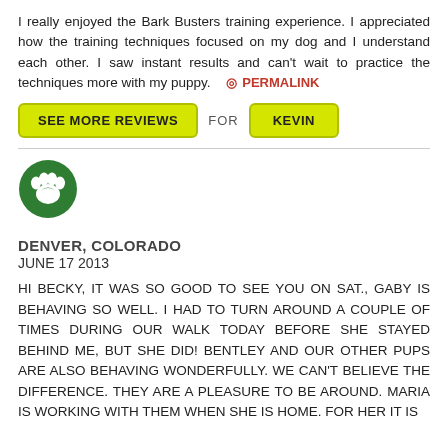I really enjoyed the Bark Busters training experience. I appreciated how the training techniques focused on my dog and I understand each other. I saw instant results and can't wait to practice the techniques more with my puppy.   % PERMALINK
SEE MORE REVIEWS   FOR   KEVIN
[Figure (logo): Green circle with white paw print icon (Bark Busters logo)]
DENVER, COLORADO
JUNE 17 2013
HI BECKY, IT WAS SO GOOD TO SEE YOU ON SAT., GABY IS BEHAVING SO WELL. I HAD TO TURN AROUND A COUPLE OF TIMES DURING OUR WALK TODAY BEFORE SHE STAYED BEHIND ME, BUT SHE DID! BENTLEY AND OUR OTHER PUPS ARE ALSO BEHAVING WONDERFULLY. WE CAN'T BELIEVE THE DIFFERENCE. THEY ARE A PLEASURE TO BE AROUND. MARIA IS WORKING WITH THEM WHEN SHE IS HOME. FOR HER IT IS